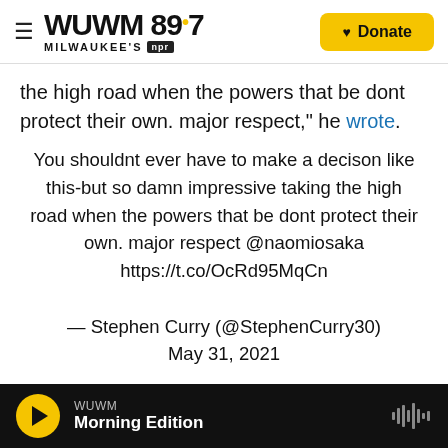WUWM 89.7 MILWAUKEE'S npr — Donate
the high road when the powers that be dont protect their own. major respect," he wrote.
You shouldnt ever have to make a decison like this-but so damn impressive taking the high road when the powers that be dont protect their own. major respect @naomiosaka https://t.co/OcRd95MqCn
— Stephen Curry (@StephenCurry30)
May 31, 2021
WUWM Morning Edition